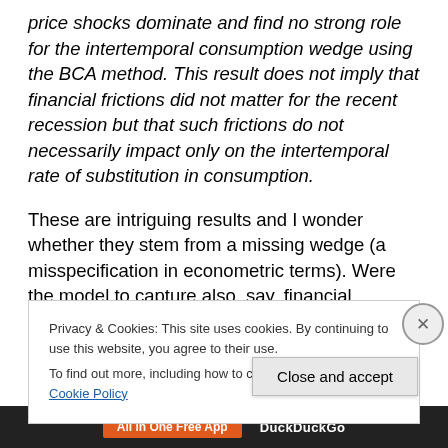price shocks dominate and find no strong role for the intertemporal consumption wedge using the BCA method. This result does not imply that financial frictions did not matter for the recent recession but that such frictions do not necessarily impact only on the intertemporal rate of substitution in consumption.
These are intriguing results and I wonder whether they stem from a missing wedge (a misspecification in econometric terms). Were the model to capture also, say, financial frictions, those would have likely become the
Privacy & Cookies: This site uses cookies. By continuing to use this website, you agree to their use.
To find out more, including how to control cookies, see here: Cookie Policy
Close and accept
[Figure (other): Bottom advertisement bar with 'All in One Free App' (orange background) and 'DuckDuckGo' text on dark background]